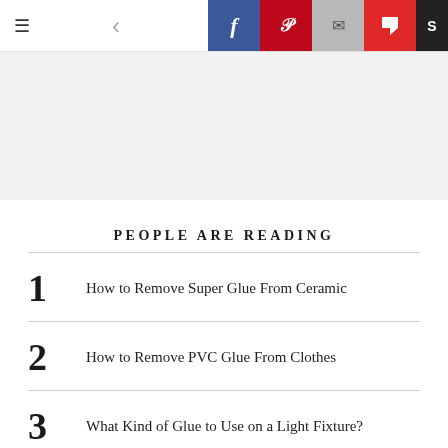Navigation bar with hamburger menu, back arrow, and social share buttons: Facebook, Pinterest, Email, Flipboard
[Figure (other): Advertisement / banner placeholder block with light gray background]
PEOPLE ARE READING
1  How to Remove Super Glue From Ceramic
2  How to Remove PVC Glue From Clothes
3  What Kind of Glue to Use on a Light Fixture?